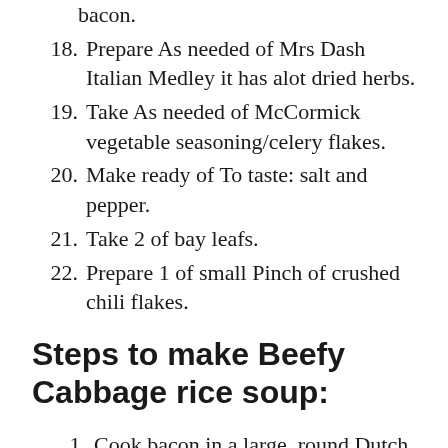bacon.
18. Prepare As needed of Mrs Dash Italian Medley it has alot dried herbs.
19. Take As needed of McCormick vegetable seasoning/celery flakes.
20. Make ready of To taste: salt and pepper.
21. Take 2 of bay leafs.
22. Prepare 1 of small Pinch of crushed chili flakes.
Steps to make Beefy Cabbage rice soup:
1. Cook bacon in a large, round Dutch oven pot until it is crispy. Remove the bacon & drain all but about 2 Tbsp of the fat.